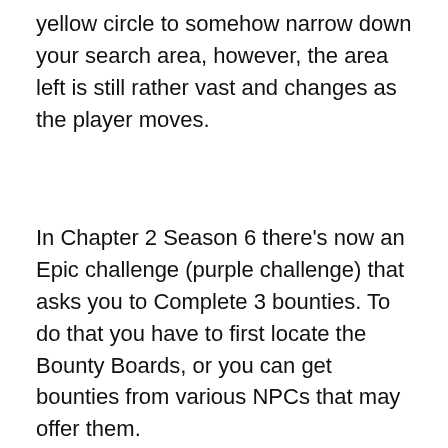yellow circle to somehow narrow down your search area, however, the area left is still rather vast and changes as the player moves.
In Chapter 2 Season 6 there's now an Epic challenge (purple challenge) that asks you to Complete 3 bounties. To do that you have to first locate the Bounty Boards, or you can get bounties from various NPCs that may offer them.